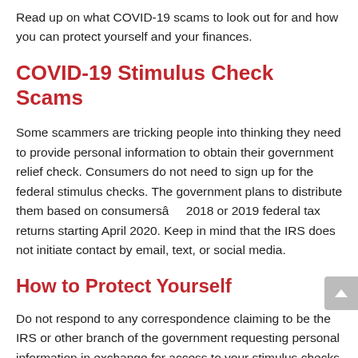Read up on what COVID-19 scams to look out for and how you can protect yourself and your finances.
COVID-19 Stimulus Check Scams
Some scammers are tricking people into thinking they need to provide personal information to obtain their government relief check. Consumers do not need to sign up for the federal stimulus checks. The government plans to distribute them based on consumersâ€™ 2018 or 2019 federal tax returns starting April 2020. Keep in mind that the IRS does not initiate contact by email, text, or social media.
How to Protect Yourself
Do not respond to any correspondence claiming to be the IRS or other branch of the government requesting personal information in exchange for access to your stimulus checks. For more information about the